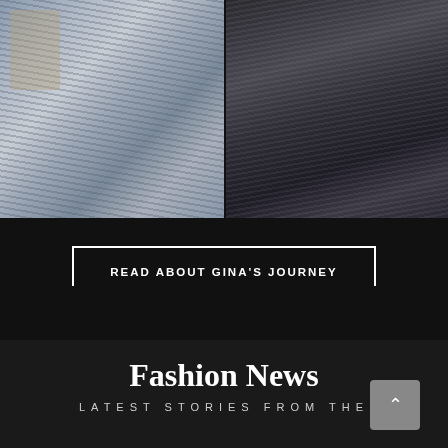[Figure (photo): Two side-by-side photos: left shows a person in a gray textured zip-up athletic jacket, right shows a person in dark/black athletic leggings from behind]
READ ABOUT GINA'S JOURNEY
Fashion News
LATEST STORIES FROM THE